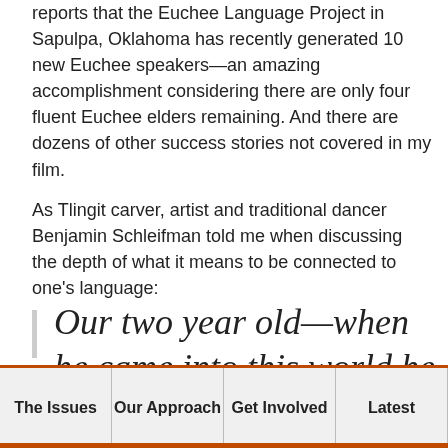reports that the Euchee Language Project in Sapulpa, Oklahoma has recently generated 10 new Euchee speakers—an amazing accomplishment considering there are only four fluent Euchee elders remaining. And there are dozens of other success stories not covered in my film.
As Tlingit carver, artist and traditional dancer Benjamin Schleifman told me when discussing the depth of what it means to be connected to one's language:
Our two year old—when he came into this world he came into a song
| The Issues | Our Approach | Get Involved | Latest |
| --- | --- | --- | --- |